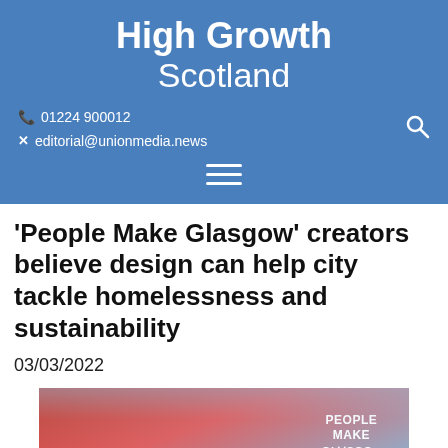High Growth Scotland
☎ 01224 900012
✕ editorial@unionmedia.news
'People Make Glasgow' creators believe design can help city tackle homelessness and sustainability
03/03/2022
[Figure (photo): Photo of a building with 'People Make Glasgow' text displayed in large letters on the exterior, against a blue sky]